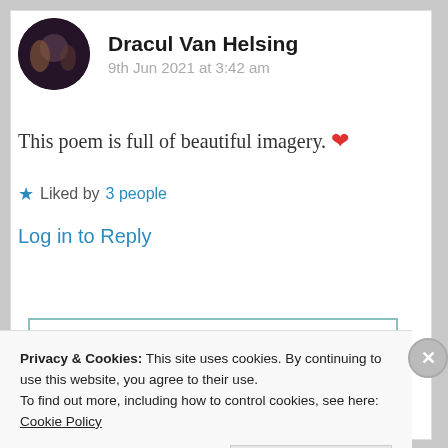[Figure (photo): Circular avatar photo of a person, dark background tones]
Dracul Van Helsing
9th Jun 2021 at 3:42 am
This poem is full of beautiful imagery. ❤
★ Liked by 3 people
Log in to Reply
Privacy & Cookies: This site uses cookies. By continuing to use this website, you agree to their use.
To find out more, including how to control cookies, see here: Cookie Policy
Close and accept